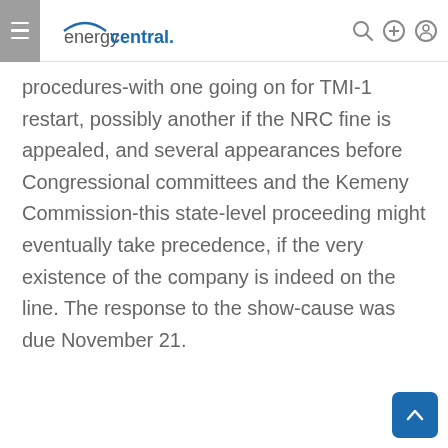energycentral.
procedures-with one going on for TMI-1 restart, possibly another if the NRC fine is appealed, and several appearances before Congressional committees and the Kemeny Commission-this state-level proceeding might eventually take precedence, if the very existence of the company is indeed on the line. The response to the show-cause was due November 21.